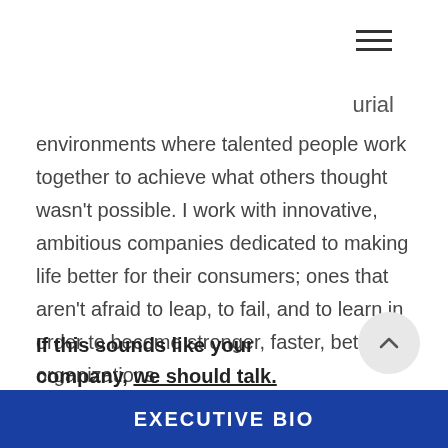[Figure (other): Hamburger menu icon (three horizontal lines)]
...rial environments where talented people work together to achieve what others thought wasn't possible. I work with innovative, ambitious companies dedicated to making life better for their consumers; ones that aren't afraid to leap, to fail, and to learn in order to become stronger, faster, better organizations.
If this sounds like your company, we should talk.
[Figure (other): Scroll-up circular button with upward chevron]
[Figure (other): More options circular button (three dots) in blue]
EXECUTIVE BIO